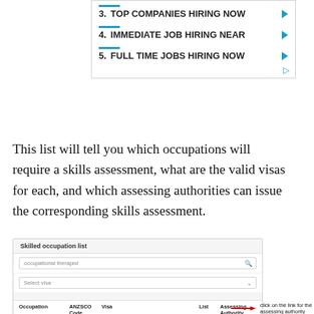[Figure (screenshot): Advertisement box showing numbered list items: 3. TOP COMPANIES HIRING NOW, 4. IMMEDIATE JOB HIRING NEAR, 5. FULL TIME JOBS HIRING NOW, each with a blue chevron arrow and blue separator bars]
This list will tell you which occupations will require a skills assessment, what are the valid visas for each, and which assessing authorities can issue the corresponding skills assessment.
[Figure (screenshot): Screenshot of a Skilled occupation list web tool with search field showing 'occupational therapist', a 'Select visa' dropdown, and a table with columns: Occupation, ANZSCO Code, Visa, List, Assessing Authority. Shows one row: Occupational Therapist, 252411, 186 - Employer Nomination Scheme visa (subclass 186), MLTSSL, OTO]
click on the link for the assessing authority